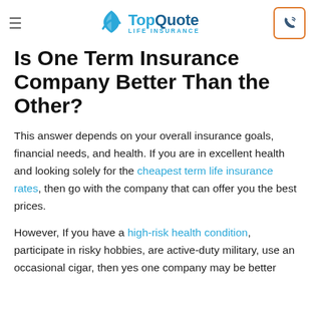TopQuote Life Insurance
Is One Term Insurance Company Better Than the Other?
This answer depends on your overall insurance goals, financial needs, and health. If you are in excellent health and looking solely for the cheapest term life insurance rates, then go with the company that can offer you the best prices.
However, If you have a high-risk health condition, participate in risky hobbies, are active-duty military, use an occasional cigar, then yes one company may be better